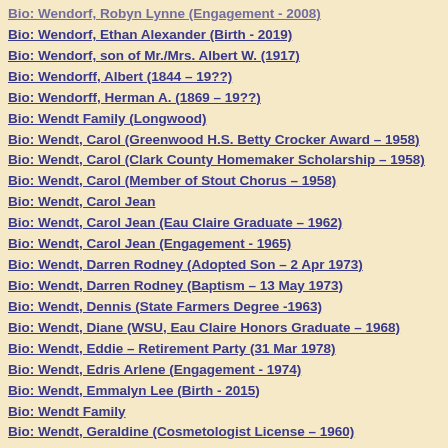Bio: Wendorf, Robyn Lynne (Engagement - 2008)
Bio: Wendorf, Ethan Alexander (Birth - 2019)
Bio: Wendorf, son of Mr./Mrs. Albert W. (1917)
Bio: Wendorff, Albert (1844 – 19??)
Bio: Wendorff, Herman A. (1869 – 19??)
Bio: Wendt Family (Longwood)
Bio: Wendt, Carol (Greenwood H.S. Betty Crocker Award – 1958)
Bio: Wendt, Carol (Clark County Homemaker Scholarship – 1958)
Bio: Wendt, Carol (Member of Stout Chorus – 1958)
Bio: Wendt, Carol Jean
Bio: Wendt, Carol Jean (Eau Claire Graduate – 1962)
Bio: Wendt, Carol Jean (Engagement - 1965)
Bio: Wendt, Darren Rodney (Adopted Son – 2 Apr 1973)
Bio: Wendt, Darren Rodney (Baptism – 13 May 1973)
Bio: Wendt, Dennis (State Farmers Degree -1963)
Bio: Wendt, Diane (WSU, Eau Claire Honors Graduate – 1968)
Bio: Wendt, Eddie – Retirement Party (31 Mar 1978)
Bio: Wendt, Edris Arlene (Engagement - 1974)
Bio: Wendt, Emmalyn Lee (Birth - 2015)
Bio: Wendt Family
Bio: Wendt, Geraldine (Cosmetologist License – 1960)
Bio: Wendt, Geraldine (Engagement – Dec 1963)